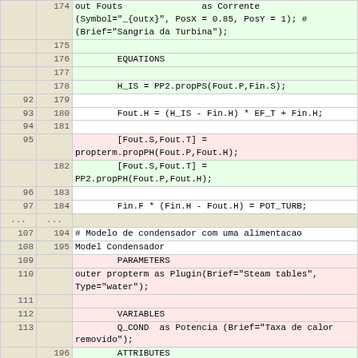| old | new | code |
| --- | --- | --- |
|  | 174 | out Fouts               as Corrente
(Symbol="_{outx}", PosX = 0.85, PosY = 1); #
(Brief="Sangria da Turbina"); |
|  | 175 |  |
|  | 176 |         EQUATIONS |
|  | 177 |  |
|  | 178 |         H_IS = PP2.propPS(Fout.P,Fin.S); |
| 92 | 179 |  |
| 93 | 180 |         Fout.H = (H_IS - Fin.H) * EF_T + Fin.H; |
| 94 | 181 |  |
| 95 |  |         [Fout.S,Fout.T] =
propterm.propPH(Fout.P,Fout.H); |
|  | 182 |         [Fout.S,Fout.T] =
PP2.propPH(Fout.P,Fout.H); |
| 96 | 183 |  |
| 97 | 184 |         Fin.F * (Fin.H - Fout.H) = POT_TURB; |
| ... | ... |  |
| 107 | 194 | # Modelo de condensador com uma alimentacao |
| 108 | 195 | Model Condensador |
| 109 |  |         PARAMETERS |
| 110 |  | outer propterm as Plugin(Brief="Steam tables",
Type="water"); |
| 111 |  |  |
| 112 |  |         VARIABLES |
| 113 |  |         Q_COND  as Potencia (Brief="Taxa de calor
removido"); |
|  | 196 |         ATTRIBUTES |
|  | 197 |         Pallete = true; |
|  | 198 |         Icon = "icon/condensador"; |
|  | 199 |  |
|  | 200 |         PARAMETERS |
|  | 201 | outer PP2 as Plugin(Brief="Steam tables"); |
|  | 202 |  |